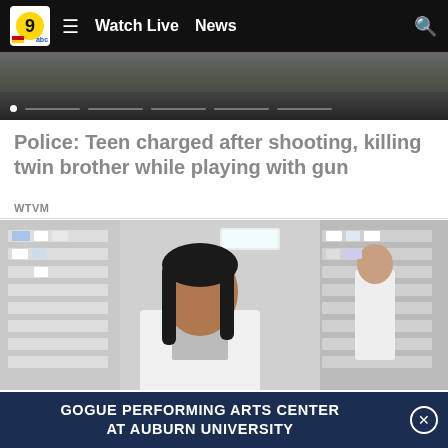Watch Live  News
[Figure (screenshot): Top portion of a news video thumbnail showing a dark outdoor scene]
Police: Teen charged after shooting, killing twin brother while playing with gun
WTVM
[Figure (photo): A young woman in a white lab coat standing in a pharmacy aisle surrounded by shelves of medications, with another person in a white coat visible in the background]
GOGUE PERFORMING ARTS CENTER AT AUBURN UNIVERSITY